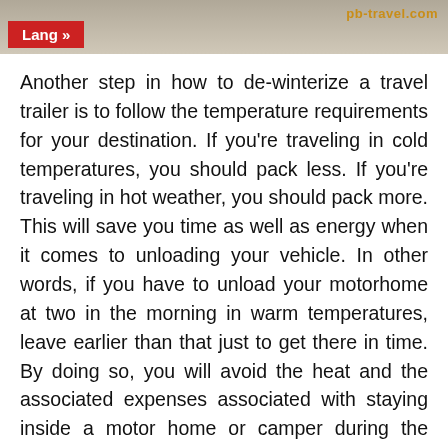Lang »
Another step in how to de-winterize a travel trailer is to follow the temperature requirements for your destination. If you're traveling in cold temperatures, you should pack less. If you're traveling in hot weather, you should pack more. This will save you time as well as energy when it comes to unloading your vehicle. In other words, if you have to unload your motorhome at two in the morning in warm temperatures, leave earlier than that just to get there in time. By doing so, you will avoid the heat and the associated expenses associated with staying inside a motor home or camper during the summer months.